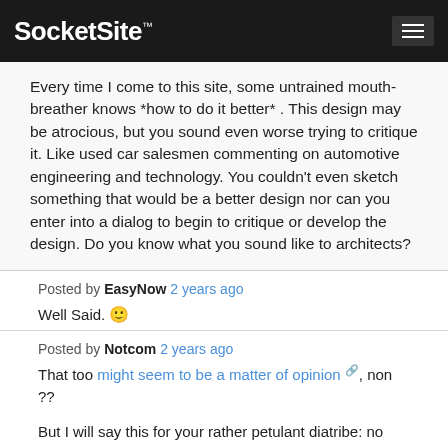SocketSite™
Every time I come to this site, some untrained mouth-breather knows *how to do it better* . This design may be atrocious, but you sound even worse trying to critique it. Like used car salesmen commenting on automotive engineering and technology. You couldn't even sketch something that would be a better design nor can you enter into a dialog to begin to critique or develop the design. Do you know what you sound like to architects?
Posted by EasyNow 2 years ago
Well Said. 🙂
Posted by Notcom 2 years ago
That too might seem to be a matter of opinion , non ??
But I will say this for your rather petulant diatribe: no confusion if it's an insult or not.
Posted by What A Town 2 years ago
Hmmm, I always thought Notcom was more of a retired NIMBY with vocal pro-affordable housing but